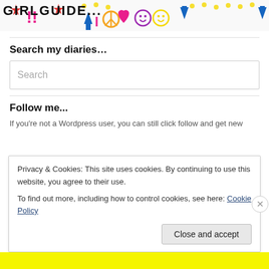[Figure (photo): Colorful hand-drawn banner with symbols including stars, hearts, peace signs, arrows, smiley faces, and exclamation marks on a white background]
Search my diaries…
Search (placeholder text in search box)
Follow me...
If you're not a Wordpress user, you can still click follow and get new
Privacy & Cookies: This site uses cookies. By continuing to use this website, you agree to their use.
To find out more, including how to control cookies, see here: Cookie Policy
Close and accept